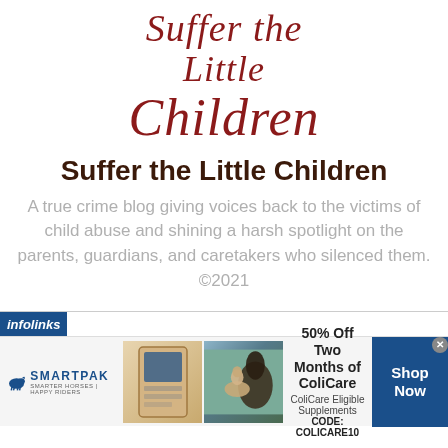Suffer the Little Children
Suffer the Little Children
A true crime blog giving voices back to the victims of child abuse and shining a harsh spotlight on the parents, guardians, and caretakers who silenced them. ©2021
[Figure (infographic): infolinks advertisement banner for SmartPak featuring supplement product image, horse with rider, '50% Off Two Months of ColiCare', 'ColiCare Eligible Supplements', 'CODE: COLICARE10', and a 'Shop Now' blue button]